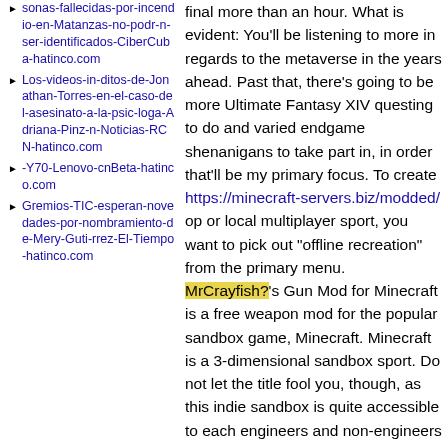sonas-fallecidas-por-incendio-en-Matanzas-no-podr-n-ser-identificados-CiberCuba-hatinco.com
Los-videos-in-ditos-de-Jonathan-Torres-en-el-caso-del-asesinato-a-la-psic-loga-Adriana-Pinz-n-Noticias-RCN-hatinco.com
-Y70-Lenovo-cnBeta-hatinco.com
Gremios-TIC-esperan-novedades-por-nombramiento-de-Mery-Guti-rrez-El-Tiempo-hatinco.com
final more than an hour. What is evident: You'll be listening to more in regards to the metaverse in the years ahead. Past that, there's going to be more Ultimate Fantasy XIV questing to do and varied endgame shenanigans to take part in, in order that'll be my primary focus. To create https://minecraft-servers.biz/modded/ op or local multiplayer sport, you want to pick out "offline recreation" from the primary menu. MrCrayfish?'s Gun Mod for Minecraft is a free weapon mod for the popular sandbox game, Minecraft. Minecraft is a 3-dimensional sandbox sport. Do not let the title fool you, though, as this indie sandbox is quite accessible to each engineers and non-engineers alike, even if it is strong enough to feature real physics and actual in-game programming. Even on Pc, beta testing was more of an earned honor exclusive to players that showed dedication to a title and its neighborhood. Once more, I'm not towards their happening, however when a lot stress is placed on them to